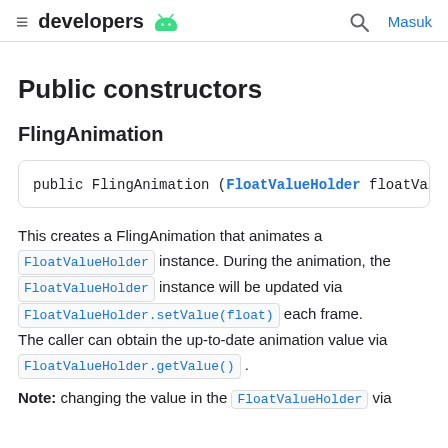developers  Masuk
Public constructors
FlingAnimation
public FlingAnimation (FloatValueHolder floatValueHo...
This creates a FlingAnimation that animates a FloatValueHolder instance. During the animation, the FloatValueHolder instance will be updated via FloatValueHolder.setValue(float) each frame. The caller can obtain the up-to-date animation value via FloatValueHolder.getValue() .
Note: changing the value in the FloatValueHolder via